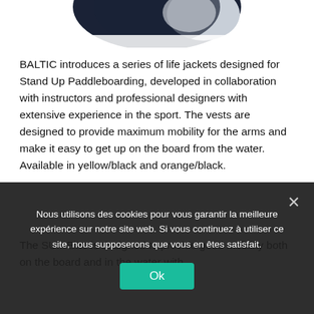[Figure (photo): Partial view of a BALTIC SUP life jacket (dark navy/black and white/grey), cropped at top of page]
BALTIC introduces a series of life jackets designed for Stand Up Paddleboarding, developed in collaboration with instructors and professional designers with extensive experience in the sport. The vests are designed to provide maximum mobility for the arms and make it easy to get up on the board from the water. Available in yellow/black and orange/black.
The SUP Elite is designed to provide good mobility both on the board and in the water with...
Nous utilisons des cookies pour vous garantir la meilleure expérience sur notre site web. Si vous continuez à utiliser ce site, nous supposerons que vous en êtes satisfait.